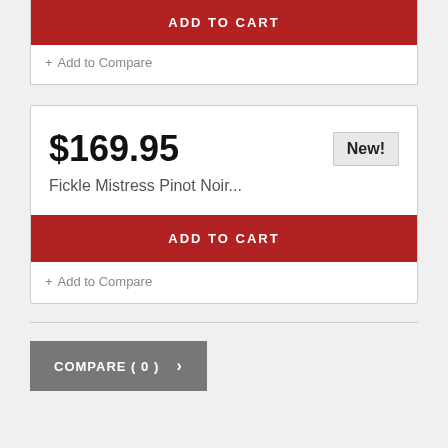ADD TO CART
+ Add to Compare
$169.95
New!
Fickle Mistress Pinot Noir...
ADD TO CART
+ Add to Compare
COMPARE ( 0 )  >